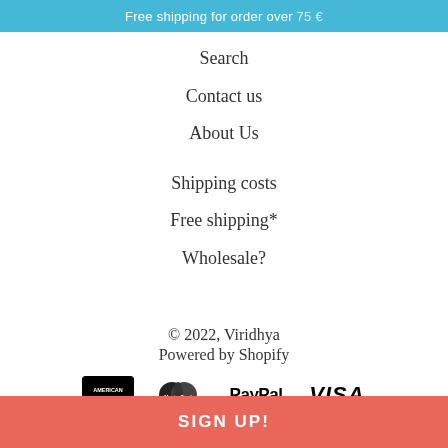Free shipping for order over 75 €
Search
Contact us
About Us
Shipping costs
Free shipping*
Wholesale?
© 2022, Viridhya
Powered by Shopify
[Figure (logo): Payment method logos: American Express, Mastercard, PayPal, Visa]
SIGN UP!